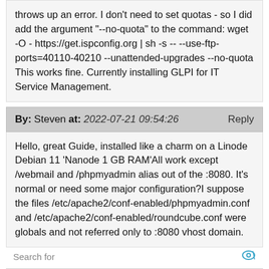throws up an error. I don't need to set quotas - so I did add the argument "--no-quota" to the command: wget -O - https://get.ispconfig.org | sh -s -- --use-ftp-ports=40110-40210 --unattended-upgrades --no-quota
This works fine. Currently installing GLPI for IT Service Management.
By: Steven at: 2022-07-21 09:54:26   Reply
Hello, great Guide, installed like a charm on a Linode Debian 11 'Nanode 1 GB RAM'All work except /webmail and /phpmyadmin alias out of the :8080. It's normal or need some major configuration?I suppose the files /etc/apache2/conf-enabled/phpmyadmin.conf and /etc/apache2/conf-enabled/roundcube.conf were globals and not referred only to :8080 vhost domain.
Search for
DIVIDENDEN ETFS MIT HOHER
10 BEST VPN PROVIDERS